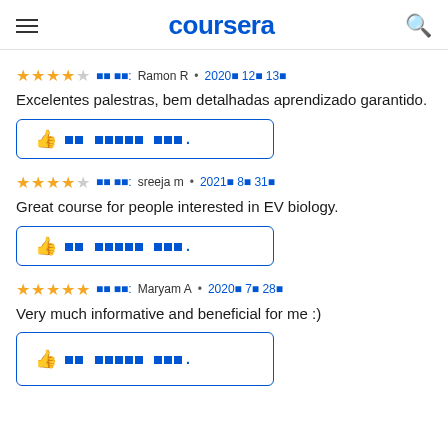coursera
★★★★☆  작성자: Ramon R • 2020년 12월 13일
Excelentes palestras, bem detalhadas aprendizado garantido.
[Figure (other): Thumbs up helpful button with squares of text]
★★★★☆  작성자: sreeja m • 2021년 8월 31일
Great course for people interested in EV biology.
[Figure (other): Thumbs up helpful button with squares of text]
★★★★★  작성자: Maryam A • 2020년 7월 28일
Very much informative and beneficial for me :)
[Figure (other): Thumbs up helpful button with squares of text (partially visible)]